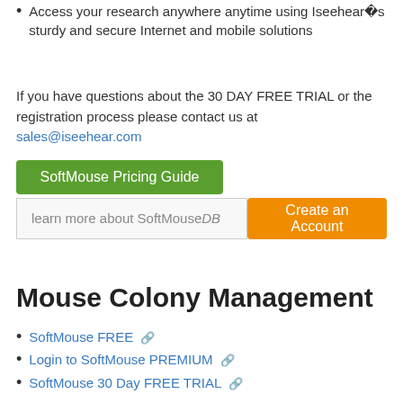Access your research anywhere anytime using Iseehear�s sturdy and secure Internet and mobile solutions
If you have questions about the 30 DAY FREE TRIAL or the registration process please contact us at sales@iseehear.com
[Figure (other): Green button labeled 'SoftMouse Pricing Guide']
[Figure (other): Input box 'learn more about SoftMouseDB' and orange 'Create an Account' button]
Mouse Colony Management
SoftMouse FREE
Login to SoftMouse PREMIUM
SoftMouse 30 Day FREE TRIAL